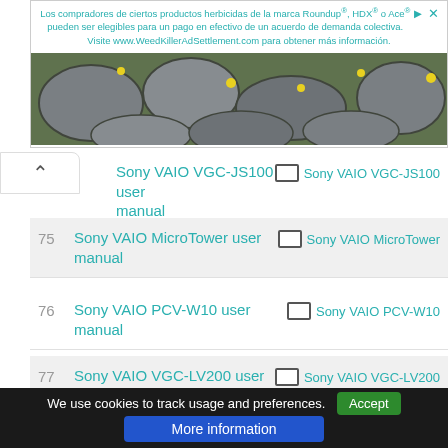[Figure (infographic): Advertisement banner in Spanish for Roundup/Ace herbicide class action lawsuit settlement. Text: 'Los compradores de ciertos productos herbicidas de la marca Roundup®, HDX® o Ace® pueden ser elegibles para un pago en efectivo de un acuerdo de demanda colectiva. Visite www.WeedKillerAdSettlement.com para obtener más información.' Below the text is a photo of stone pavers with grass and yellow flowers.]
Sony VAIO VGC-JS100 user manual — Sony VAIO VGC-JS100
75 — Sony VAIO MicroTower user manual — Sony VAIO MicroTower
76 — Sony VAIO PCV-W10 user manual — Sony VAIO PCV-W10
77 — Sony VAIO VGC-LV200 user manual — Sony VAIO VGC-LV200
78 — Sony VAIO V G N - B Z 5 6 0 — Sony VAIO V G N - B Z 5 6
We use cookies to track usage and preferences. Accept | More information